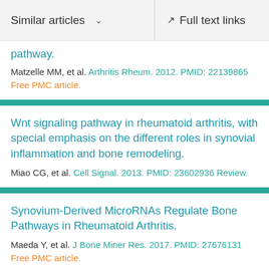Similar articles   Full text links
pathway.
Matzelle MM, et al. Arthritis Rheum. 2012. PMID: 22139865
Free PMC article.
Wnt signaling pathway in rheumatoid arthritis, with special emphasis on the different roles in synovial inflammation and bone remodeling.
Miao CG, et al. Cell Signal. 2013. PMID: 23602936 Review.
Synovium-Derived MicroRNAs Regulate Bone Pathways in Rheumatoid Arthritis.
Maeda Y, et al. J Bone Miner Res. 2017. PMID: 27676131
Free PMC article.